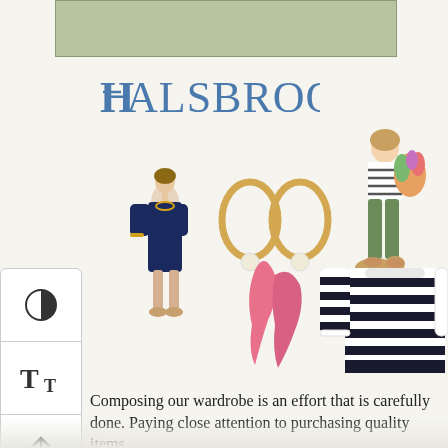[Figure (other): Sage green rectangular banner at top of page]
[Figure (logo): Halsbrook brand logo in blue serif font]
[Figure (illustration): Fashion e-commerce screenshot showing: navy blue dress on model, gold hoop earrings with pearl drops, illustration of woman carrying groceries in striped outfit, pink scarf, navy/white striped sweater]
[Figure (infographic): Left toolbar with contrast, text size, and upload icons]
Composing our wardrobe is an effort that is carefully done. Paying close attention to purchasing quality items